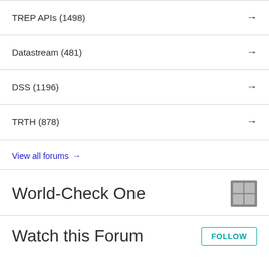TREP APIs (1498)
Datastream (481)
DSS (1196)
TRTH (878)
View all forums →
World-Check One
Watch this Forum
FOLLOW